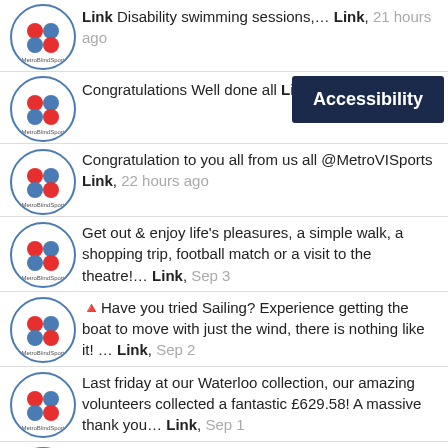Link Disability swimming sessions,… Link, 21 hours ago
Congratulations Well done all Link [Accessibility button]
Congratulation to you all from us all @MetroVISports Link, 22 hours ago
Get out & enjoy life's pleasures, a simple walk, a shopping trip, football match or a visit to the theatre!… Link, Sep 3
🔺Have you tried Sailing? Experience getting the boat to move with just the wind, there is nothing like it! … Link, Sep 2
Last friday at our Waterloo collection, our amazing volunteers collected a fantastic £629.58! A massive thank you… Link, Sep 1
Good luck to both teams @MetroVISports v @SharksVi on Saturday at BCEW Primary Club Heindrich Swanepoel Cup!… Link, Sep 1